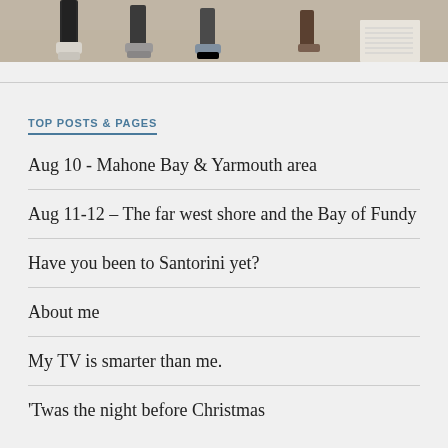[Figure (photo): Cropped photo showing feet and legs of several people standing on a light-colored floor, with various shoes visible]
TOP POSTS & PAGES
Aug 10 - Mahone Bay & Yarmouth area
Aug 11-12 – The far west shore and the Bay of Fundy
Have you been to Santorini yet?
About me
My TV is smarter than me.
'Twas the night before Christmas